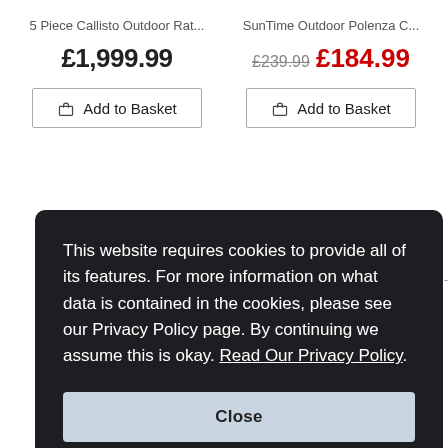5 Piece Callisto Outdoor Rat...
SunTime Outdoor Polenza C...
£1,999.99
£239.99  £184.99
Add to Basket
Add to Basket
This website requires cookies to provide all of its features. For more information on what data is contained in the cookies, please see our Privacy Policy page. By continuing we assume this is okay. Read Our Privacy Policy
Close